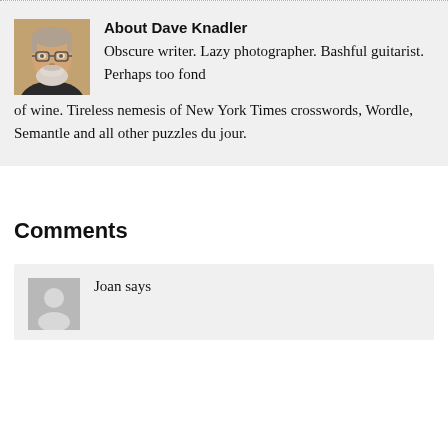[Figure (photo): Portrait photo of Dave Knadler, an older man with white beard and glasses, wearing a dark jacket]
About Dave Knadler
Obscure writer. Lazy photographer. Bashful guitarist. Perhaps too fond of wine. Tireless nemesis of New York Times crosswords, Wordle, Semantle and all other puzzles du jour.
Comments
[Figure (photo): Generic grey avatar placeholder for commenter Joan]
Joan says